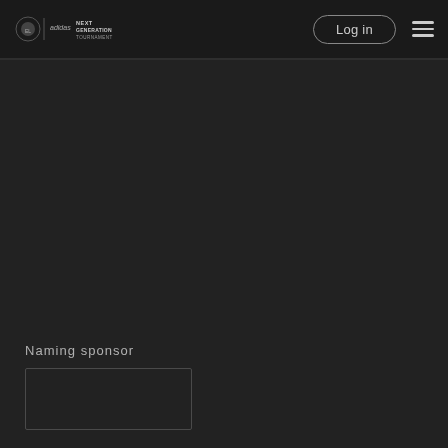Euroleague adidas Next Generation Tournament — Log in
[Figure (logo): Euroleague adidas Next Generation Tournament logo — combined Euroleague and adidas logos with 'NEXT GENERATION TOURNAMENT' text]
Naming sponsor
[Figure (other): Empty sponsor box / placeholder rectangle for naming sponsor logo]